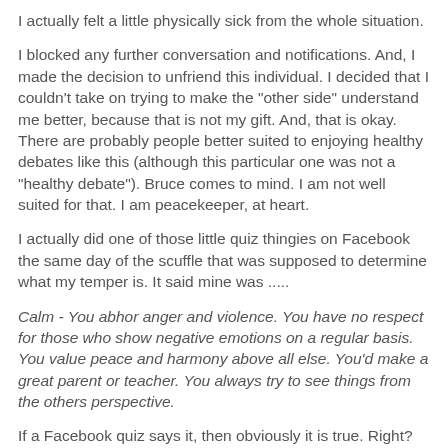I actually felt a little physically sick from the whole situation.
I blocked any further conversation and notifications.  And, I made the decision to unfriend this individual.  I decided that I couldn't take on trying to make the "other side" understand me better, because that is not my gift.  And, that is okay.  There are probably people better suited to enjoying healthy debates like this (although this particular one was not a "healthy debate").  Bruce comes to mind.  I am not well suited for that. I am peacekeeper, at heart.
I actually did one of those little quiz thingies on Facebook the same day of the scuffle that was supposed to determine what my temper is.  It said mine was .....
Calm - You abhor anger and violence.  You have no respect for those who show negative emotions on a regular basis.  You value peace and harmony above all else.  You'd make a great parent or teacher.  You always try to see things from the others perspective.
If a Facebook quiz says it, then obviously it is true.  Right?